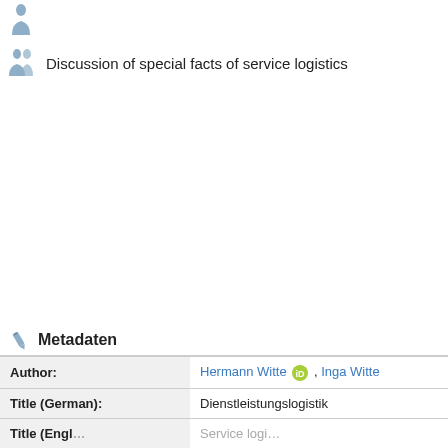Discussion of special facts of service logistics
Metadaten
|  |  |
| --- | --- |
| Author: | Hermann Witte, Inga Witte |
| Title (German): | Dienstleistungslogistik |
| Title (English): | Service logistics |